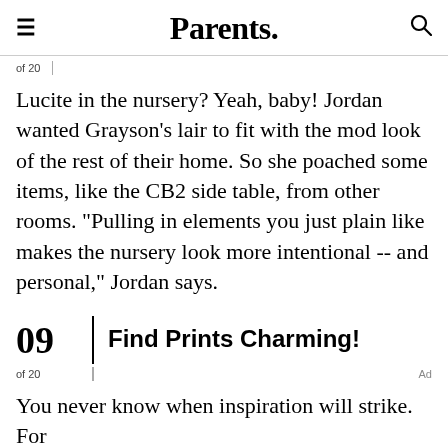Parents.
of 20
Lucite in the nursery? Yeah, baby! Jordan wanted Grayson's lair to fit with the mod look of the rest of their home. So she poached some items, like the CB2 side table, from other rooms. "Pulling in elements you just plain like makes the nursery look more intentional -- and personal," Jordan says.
09 | Find Prints Charming!
of 20
You never know when inspiration will strike. For